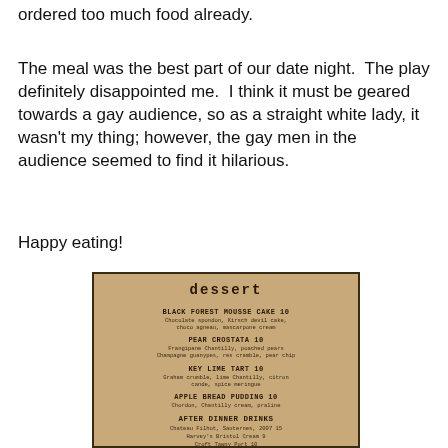ordered too much food already.
The meal was the best part of our date night.  The play definitely disappointed me.  I think it must be geared towards a gay audience, so as a straight white lady, it wasn't my thing; however, the gay men in the audience seemed to find it hilarious.
Happy eating!
[Figure (photo): A photograph of a dessert menu on brown/kraft paper. The menu shows items: dessert (title), BLACK FOREST MOUSSE CAKE 10, PEAR CROSTATA 10, KEY LIME TART 10, APPLE BREAD PUDDING 10, AFTER DINNER DRINKS, Chateau Filhot, Sauternes, 2007 15, Harvey's Bristol Cream 9, Croft Tawny Port 10, and partially visible text at bottom.]